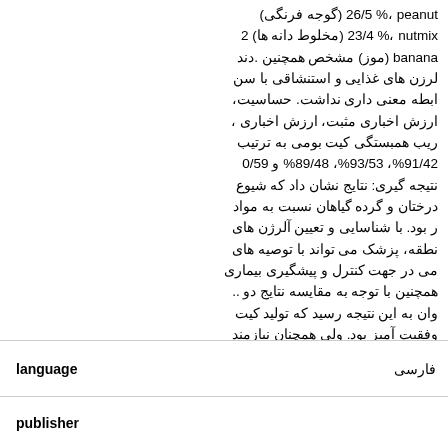26/5 %، peanut (گوجه فرنگی) 23/4 %، nutmix (مخلوط دانه ها) 20% همچنین مشخص (موز) banana دند. لرزن های غذایی و استنشاقی با سن ابطه معنی داری نداشت. حساسیت، ارزش اخباری مثبت، ارزش اخباری ریب همبستگی کیت بومی به ترتیب %89/48 ،%93/53 ،%91/42 و 0/59 نتیجه گیری: نتایج نشان داد که شیوع درختان و گرده گیاهان نسبت به مواد ر بود. با شناسایی و تعیین آلرژن های نطقه، پزشک می تواند با توصیه های می در جهت کنترل و پیشگیری بیماری همچنین با توجه به مقایسه نتایج دو.. وان به این نتیجه رسید که تولید کیت وفقیت آمیز بود. ولی همچنان نیازمند CCD (cross-reactive ca آنتی حذف determinants) اختصاصیت کیت (بش می باشیم
| publisher | language |
| --- | --- |
|  | فارسی |
|  |  |